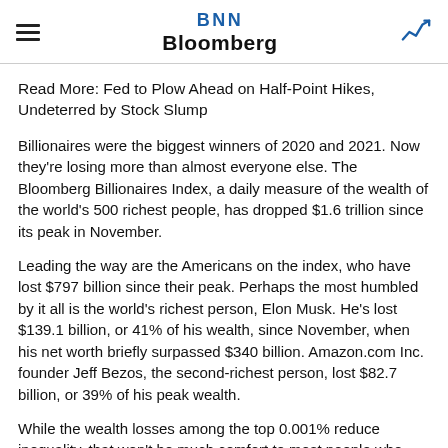BNN Bloomberg
Read More: Fed to Plow Ahead on Half-Point Hikes, Undeterred by Stock Slump
Billionaires were the biggest winners of 2020 and 2021. Now they're losing more than almost everyone else. The Bloomberg Billionaires Index, a daily measure of the wealth of the world's 500 richest people, has dropped $1.6 trillion since its peak in November.
Leading the way are the Americans on the index, who have lost $797 billion since their peak. Perhaps the most humbled by it all is the world's richest person, Elon Musk. He's lost $139.1 billion, or 41% of his wealth, since November, when his net worth briefly surpassed $340 billion. Amazon.com Inc. founder Jeff Bezos, the second-richest person, lost $82.7 billion, or 39% of his peak wealth.
While the wealth losses among the top 0.001% reduce inequality, that won't be much comfort to most people who worry about the U.S.'s widening disparities.